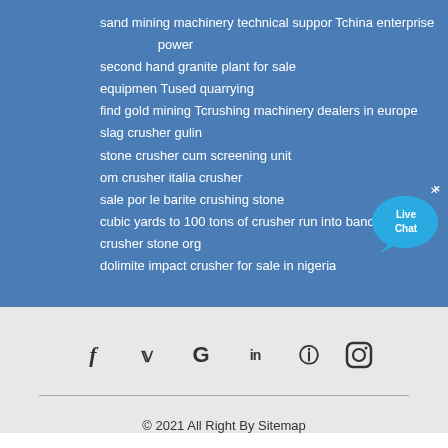sand mining machinery technical suppor Tchina enterprise power
second hand granite plant for sale
equipmen Tused quarrying
find gold mining Tcrushing machinery dealers in europe
slag crusher gulin
stone crusher cum screening unit
om crusher italia crusher
sale por le barite crushing stone
cubic yards to 100 tons of crusher run into bands
crusher stone org
dolimite impact crusher for sale in nigeria
[Figure (logo): Live Chat button with speech bubble icon in blue and white]
[Figure (infographic): Social media icons: Facebook (f), Twitter (bird/y), Google (G), LinkedIn (in), Instagram (circle camera)]
© 2021 All Right By Sitemap